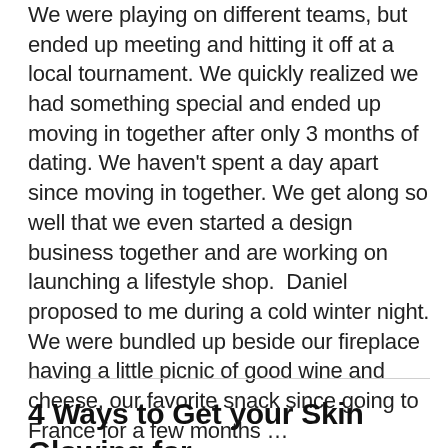We were playing on different teams, but ended up meeting and hitting it off at a local tournament. We quickly realized we had something special and ended up moving in together after only 3 months of dating. We haven't spent a day apart since moving in together. We get along so well that we even started a design business together and are working on launching a lifestyle shop.  Daniel proposed to me during a cold winter night. We were bundled up beside our fireplace having a little picnic of good wine and cheese, our favorite snack since going to France for a few months … ▶ Show more
4 Ways to Get your Skin Glowing for